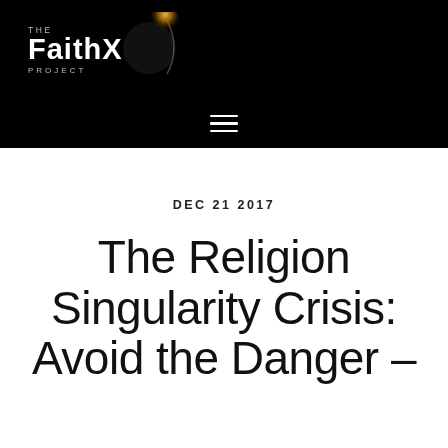[Figure (logo): The FaithX Project logo with white text and an eclipse/crescent graphic on black background]
☰
DEC 21 2017
The Religion Singularity Crisis: Avoid the Danger –